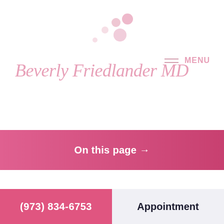Beverly Friedlander MD — MENU
On this page →
(973) 834-6753
Appointment